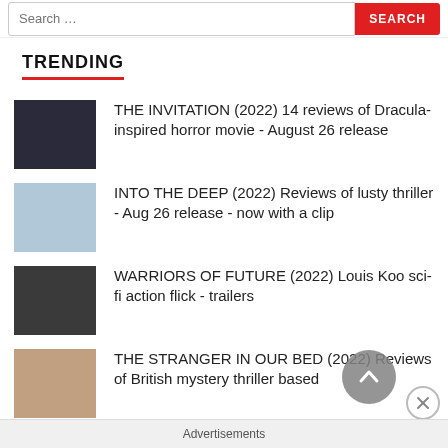Search ... SEARCH
TRENDING
THE INVITATION (2022) 14 reviews of Dracula-inspired horror movie - August 26 release
INTO THE DEEP (2022) Reviews of lusty thriller - Aug 26 release - now with a clip
WARRIORS OF FUTURE (2022) Louis Koo sci-fi action flick - trailers
THE STRANGER IN OUR BED (2022) Reviews of British mystery thriller based on the bestselling novel
Advertisements